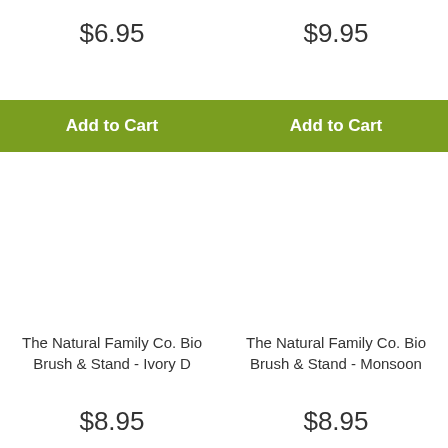$6.95
$9.95
Add to Cart
Add to Cart
The Natural Family Co. Bio Brush & Stand - Ivory D
The Natural Family Co. Bio Brush & Stand - Monsoon
$8.95
$8.95